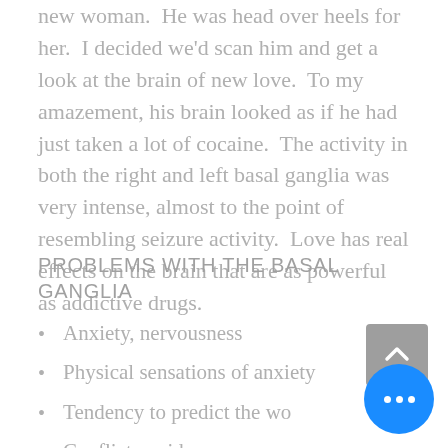new woman.  He was head over heels for her.  I decided we'd scan him and get a look at the brain of new love.  To my amazement, his brain looked as if he had just taken a lot of cocaine.  The activity in both the right and left basal ganglia was very intense, almost to the point of resembling seizure activity.  Love has real effects on the brain that are as powerful as addictive drugs.
PROBLEMS WITH THE BASAL GANGLIA
Anxiety, nervousness
Physical sensations of anxiety
Tendency to predict the wo…
Conflict avoidance